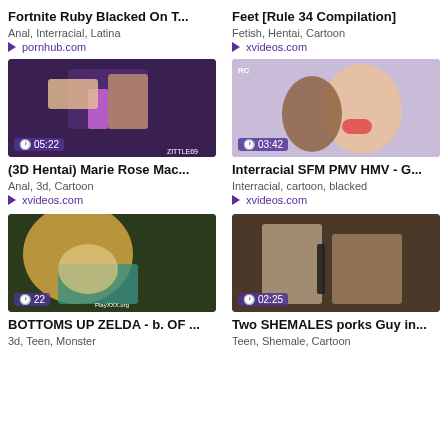Fortnite Ruby Blacked On T...
Anal, Interracial, Latina
pornhub.com
Feet [Rule 34 Compilation]
Fetish, Hentai, Cartoon
xvideos.com
[Figure (screenshot): Animated 3D hentai scene, duration 05:22, watermark ZITTLE69]
(3D Hentai) Marie Rose Mac...
Anal, 3d, Cartoon
xvideos.com
[Figure (screenshot): Animated 3D interracial SFM scene, duration 03:42, RC watermark]
Interracial SFM PMV HMV - G...
Interracial, cartoon, blacked
xvideos.com
[Figure (screenshot): Animated 3D Zelda scene, duration 22, PlayXXX.org watermark]
BOTTOMS UP ZELDA - b. OF ...
3d, Teen, Monster
[Figure (screenshot): 3D animated scene, duration 02:25]
Two SHEMALES porks Guy in...
Teen, Shemale, Cartoon